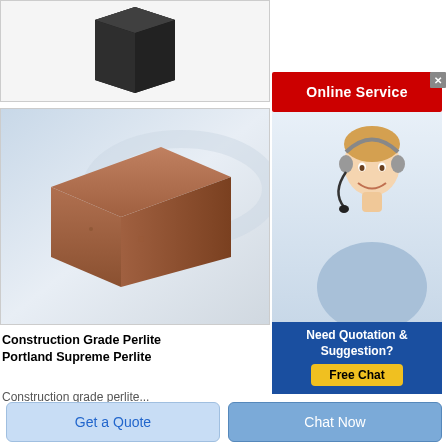[Figure (photo): Dark grey/black rectangular block product photo with border]
[Figure (photo): Brown rectangular perlite brick on light blue-grey background]
Construction Grade Perlite Portland Supreme Perlite
Construction grade perlite
[Figure (screenshot): Online Service red banner with white text]
[Figure (photo): Customer service representative smiling, wearing headset]
[Figure (screenshot): Need Quotation & Suggestion? Free Chat button on dark blue background]
Get a Quote
Chat Now